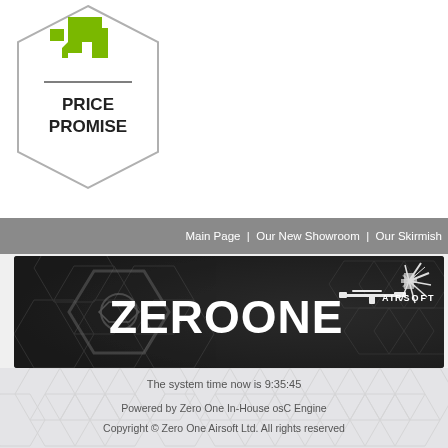[Figure (logo): Zero One Price Promise hexagon badge with green arrow icon and bold text PRICE PROMISE]
Main Page  |  Our New Showroom  |  Our Skirmish
[Figure (logo): Zero One Airsoft banner with dark background, hexagonal geometric pattern, large white ZEROONE AIRSOFT logo text with rifle and UK flag splash graphic]
The system time now is 9:35:45
Powered by Zero One In-House osC Engine
Copyright © Zero One Airsoft Ltd. All rights reserved